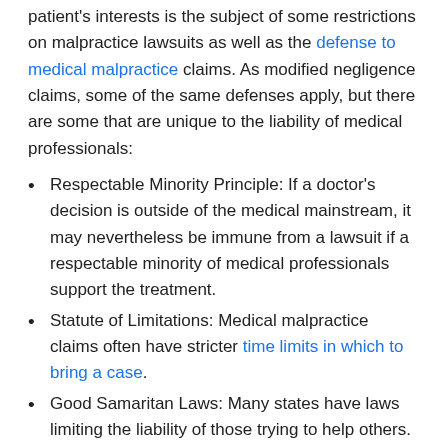patient's interests is the subject of some restrictions on malpractice lawsuits as well as the defense to medical malpractice claims. As modified negligence claims, some of the same defenses apply, but there are some that are unique to the liability of medical professionals:
Respectable Minority Principle: If a doctor's decision is outside of the medical mainstream, it may nevertheless be immune from a lawsuit if a respectable minority of medical professionals support the treatment.
Statute of Limitations: Medical malpractice claims often have stricter time limits in which to bring a case.
Good Samaritan Laws: Many states have laws limiting the liability of those trying to help others.
Contributory and Comparative Negligence
In many injury cases, there wasn't just one person acting negligently. Comparative and contributory negligence are